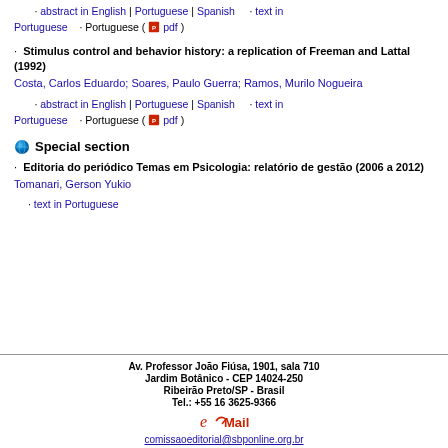· abstract in English | Portuguese | Spanish · text in Portuguese · Portuguese ( pdf )
Stimulus control and behavior history: a replication of Freeman and Lattal (1992)
Costa, Carlos Eduardo; Soares, Paulo Guerra; Ramos, Murilo Nogueira
· abstract in English | Portuguese | Spanish · text in Portuguese · Portuguese ( pdf )
Special section
Editoria do periódico Temas em Psicologia: relatório de gestão (2006 a 2012)
Tomanari, Gerson Yukio
· text in Portuguese
Av. Professor João Fiúsa, 1901, sala 710
Jardim Botânico - CEP 14024-250
Ribeirão Preto/SP - Brasil
Tel.: +55 16 3625-9366
comissaoeditorial@sbponline.org.br